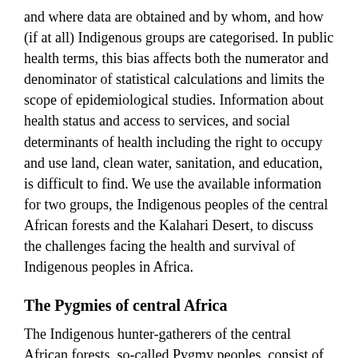and where data are obtained and by whom, and how (if at all) Indigenous groups are categorised. In public health terms, this bias affects both the numerator and denominator of statistical calculations and limits the scope of epidemiological studies. Information about health status and access to services, and social determinants of health including the right to occupy and use land, clean water, sanitation, and education, is difficult to find. We use the available information for two groups, the Indigenous peoples of the central African forests and the Kalahari Desert, to discuss the challenges facing the health and survival of Indigenous peoples in Africa.
The Pygmies of central Africa
The Indigenous hunter-gatherers of the central African forests, so-called Pygmy peoples, consist of at least 15 distinct ethnolinguistic groups including the Gyéli, Kola, Baka, Aka, Bongo, Efe, Mbuti, western Twa, and eastern Twa living in ten